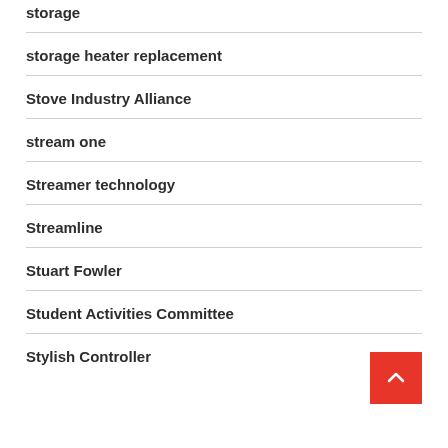storage
storage heater replacement
Stove Industry Alliance
stream one
Streamer technology
Streamline
Stuart Fowler
Student Activities Committee
Stylish Controller